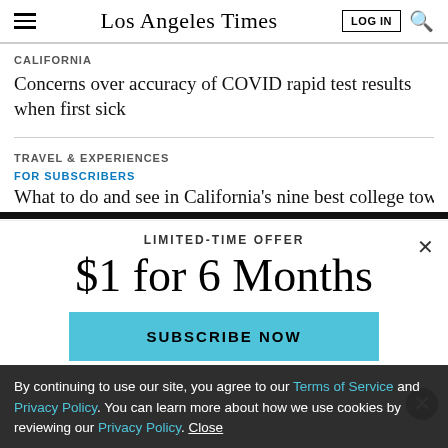Los Angeles Times
CALIFORNIA
Concerns over accuracy of COVID rapid test results when first sick
TRAVEL & EXPERIENCES
FOR SUBSCRIBERS
What to do and see in California's nine best college towns
LIMITED-TIME OFFER
$1 for 6 Months
SUBSCRIBE NOW
By continuing to use our site, you agree to our Terms of Service and Privacy Policy. You can learn more about how we use cookies by reviewing our Privacy Policy. Close